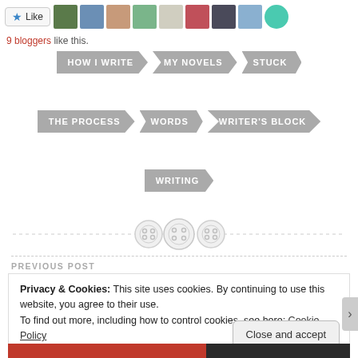[Figure (screenshot): Like button and blogger avatars row]
9 bloggers like this.
HOW I WRITE
MY NOVELS
STUCK
THE PROCESS
WORDS
WRITER'S BLOCK
WRITING
[Figure (illustration): Decorative divider with three button/sewing icons on a dashed line]
PREVIOUS POST
Privacy & Cookies: This site uses cookies. By continuing to use this website, you agree to their use.
To find out more, including how to control cookies, see here: Cookie Policy
Close and accept